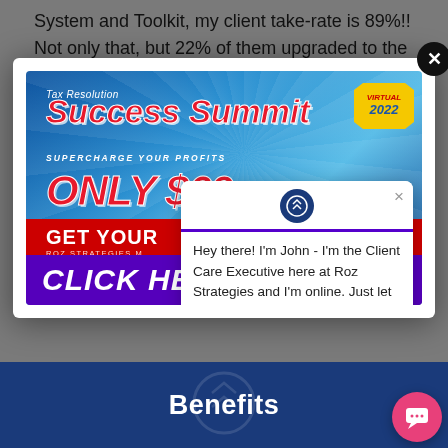System and Toolkit, my client take-rate is 89%!! Not only that, but 22% of them upgraded to the Gold Level Plan for $129.95!"
[Figure (screenshot): Modal popup showing a Tax Resolution Success Summit 2022 advertisement banner with 'ONLY $69', 'GET YOUR', 'CLICK HERE' text, overlaid by a chat popup from John the Client Care Executive at Roz Strategies saying 'Hey there! I'm John - I'm the Client Care Executive here at Roz Strategies and I'm online. Just let me know if you have any questions!']
Benefits